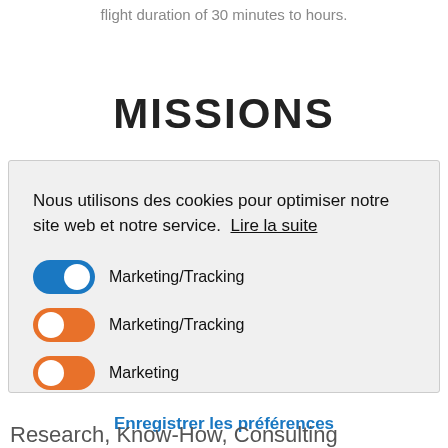flight duration of 30 minutes to hours.
MISSIONS
Nous utilisons des cookies pour optimiser notre site web et notre service. Lire la suite
Marketing/Tracking (toggle on, blue)
Marketing/Tracking (toggle on, orange)
Marketing (toggle on, orange)
Enregistrer les préférences
Research, Know-How, Consulting